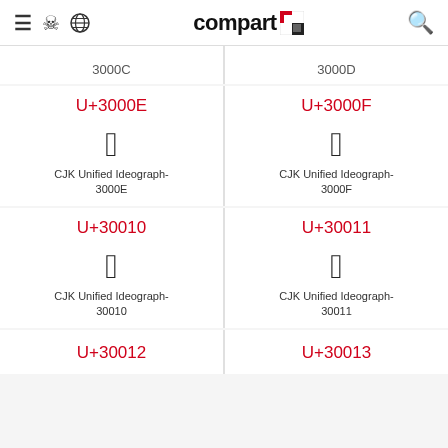compart
3000C
3000D
U+3000E
CJK Unified Ideograph-3000E
U+3000F
CJK Unified Ideograph-3000F
U+30010
CJK Unified Ideograph-30010
U+30011
CJK Unified Ideograph-30011
U+30012
U+30013